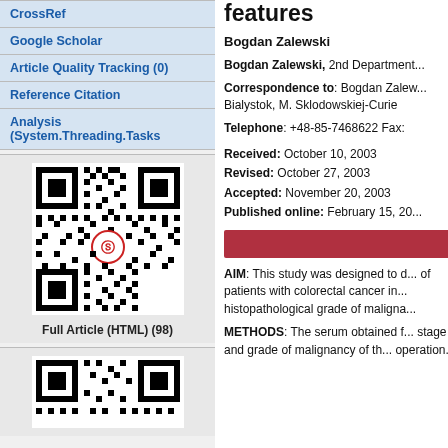CrossRef
Google Scholar
Article Quality Tracking (0)
Reference Citation
Analysis (System.Threading.Tasks
[Figure (other): QR code for Full Article (HTML) (98)]
Full Article (HTML) (98)
[Figure (other): Second QR code (partial, cropped at bottom)]
features
Bogdan Zalewski
Bogdan Zalewski, 2nd Department...
Correspondence to: Bogdan Zalew... Bialystok, M. Sklodowskiej-Curie
Telephone: +48-85-7468622 Fax:
Received: October 10, 2003
Revised: October 27, 2003
Accepted: November 20, 2003
Published online: February 15, 20...
[Figure (other): Red abstract section header bar]
AIM: This study was designed to determine the serum level of patients with colorectal cancer in relation to histopathological grade of maligna...
METHODS: The serum obtained... stage and grade of malignancy of the... operation.